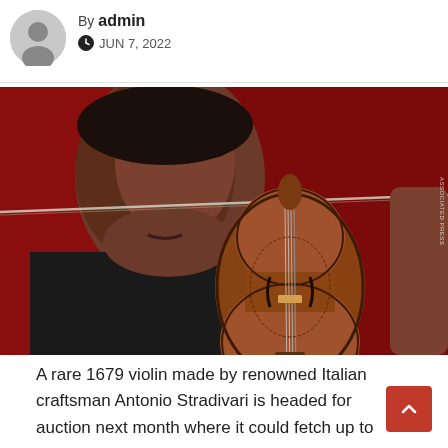By admin
JUN 7, 2022
[Figure (photo): A young musician playing a violin with eyes closed, against a red background. The violin has ornate carved decorations on its body.]
A rare 1679 violin made by renowned Italian craftsman Antonio Stradivari is headed for auction next month where it could fetch up to